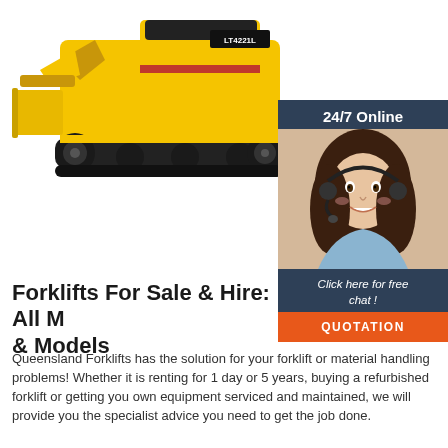[Figure (photo): Yellow crawler bulldozer / forklift machine model LT4221L with black tracks, photographed on white background]
[Figure (infographic): 24/7 Online chat widget box with dark teal/navy background, photo of smiling female customer service agent wearing headset, italic text 'Click here for free chat!', and orange 'QUOTATION' button]
Forklifts For Sale & Hire: All Makes & Models
Queensland Forklifts has the solution for your forklift or material handling problems! Whether it is renting for 1 day or 5 years, buying a refurbished forklift or getting you own equipment serviced and maintained, we will provide you the specialist advice you need to get the job done.